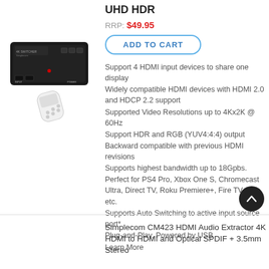[Figure (photo): Product photo of a Simplecom 4K HDMI switch device (black box) with a remote control, shown from slightly above angle on white background.]
UHD HDR
RRP: $49.95
ADD TO CART
Support 4 HDMI input devices to share one display
Widely compatible HDMI devices with HDMI 2.0 and HDCP 2.2 support
Supported Video Resolutions up to 4Kx2K @ 60Hz
Support HDR and RGB (YUV4:4:4) output
Backward compatible with previous HDMI revisions
Supports highest bandwidth up to 18Gpbs.
Perfect for PS4 Pro, Xbox One S, Chromecast Ultra, Direct TV, Roku Premiere+, Fire TV, PCs etc.
Supports Auto Switching to active input source port*
Plug-and-Play, Powered by USB
Learn More
Simplecom CM423 HDMI Audio Extractor 4K HDMI to HDMI and Optical SPDIF + 3.5mm Stereo